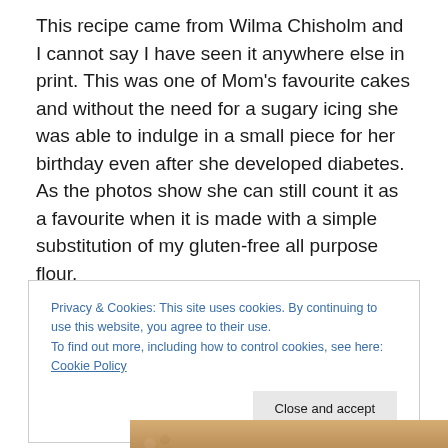This recipe came from Wilma Chisholm and I cannot say I have seen it anywhere else in print. This was one of Mom's favourite cakes and without the need for a sugary icing she was able to indulge in a small piece for her birthday even after she developed diabetes. As the photos show she can still count it as a favourite when it is made with a simple substitution of my gluten-free all purpose flour.
Privacy & Cookies: This site uses cookies. By continuing to use this website, you agree to their use. To find out more, including how to control cookies, see here: Cookie Policy
[Figure (photo): Partial view of a photo at the bottom of the page showing what appears to be a baked cake or food item in warm brown tones]